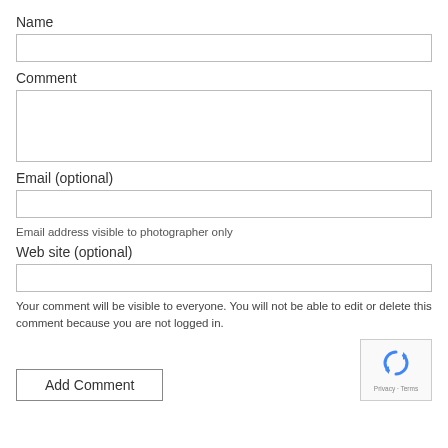Name
[Figure (other): Empty text input field for Name]
Comment
[Figure (other): Large empty textarea for Comment with resize handle]
Email (optional)
[Figure (other): Empty text input field for Email]
Email address visible to photographer only
Web site (optional)
[Figure (other): Empty text input field for Web site]
Your comment will be visible to everyone. You will not be able to edit or delete this comment because you are not logged in.
[Figure (other): Add Comment button]
[Figure (other): reCAPTCHA widget with Privacy and Terms links]